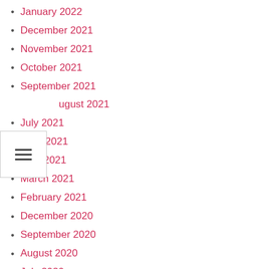January 2022
December 2021
November 2021
October 2021
September 2021
August 2021
July 2021
June 2021
April 2021
March 2021
February 2021
December 2020
September 2020
August 2020
July 2020
February 2020
January 2020
November 2019
August 2019